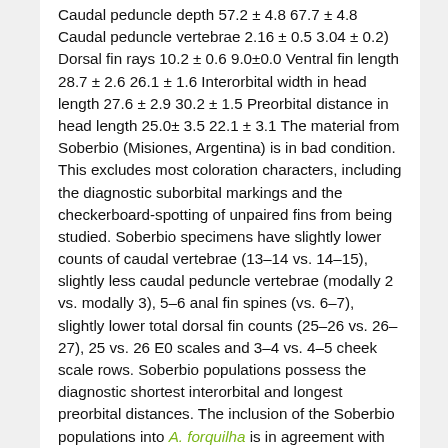Caudal peduncle depth 57.2 ± 4.8 67.7 ± 4.8 Caudal peduncle vertebrae 2.16 ± 0.5 3.04 ± 0.2) Dorsal fin rays 10.2 ± 0.6 9.0±0.0 Ventral fin length 28.7 ± 2.6 26.1 ± 1.6 Interorbital width in head length 27.6 ± 2.9 30.2 ± 1.5 Preorbital distance in head length 25.0± 3.5 22.1 ± 3.1 The material from Soberbio (Misiones, Argentina) is in bad condition. This excludes most coloration characters, including the diagnostic suborbital markings and the checkerboard-spotting of unpaired fins from being studied. Soberbio specimens have slightly lower counts of caudal vertebrae (13–14 vs. 14–15), slightly less caudal peduncle vertebrae (modally 2 vs. modally 3), 5–6 anal fin spines (vs. 6–7), slightly lower total dorsal fin counts (25–26 vs. 26–27), 25 vs. 26 E0 scales and 3–4 vs. 4–5 cheek scale rows. Soberbio populations possess the diagnostic shortest interorbital and longest preorbital distances. The inclusion of the Soberbio populations into A. forquilha is in agreement with the RDA analysis (Řičan & Kullander, 2006), but in conflict with the populations as terminal taxa phylogenetic analyses (which include all informative characters including the